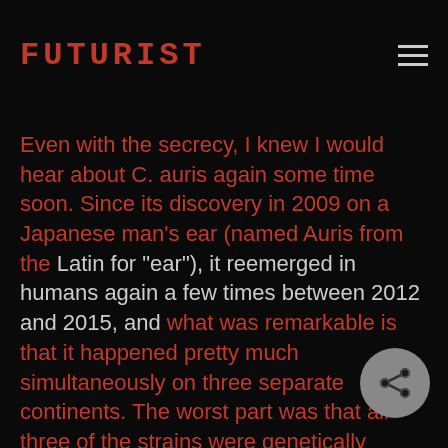FUTURIST
Even with the secrecy, I knew I would hear about C. auris again some time soon. Since its discovery in 2009 on a Japanese man's ear (named Auris from the Latin for "ear"), it reemerged in humans again a few times between 2012 and 2015, and what was remarkable is that it happened pretty much simultaneously on three separate continents. The worst part was that all three of the strains were genetically different. So not only is this fungi resilient and spreading, but there are actually multiple strains with different evolutionary lineages that can infect humans (pathogenic)